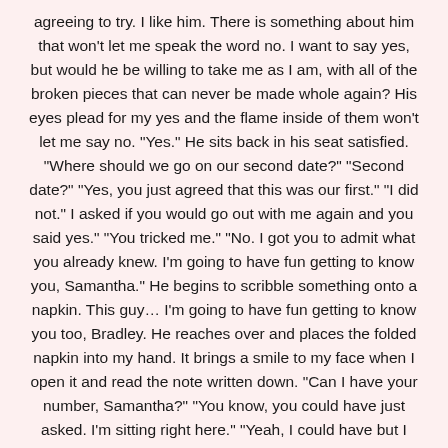agreeing to try. I like him. There is something about him that won't let me speak the word no. I want to say yes, but would he be willing to take me as I am, with all of the broken pieces that can never be made whole again? His eyes plead for my yes and the flame inside of them won't let me say no. "Yes." He sits back in his seat satisfied. "Where should we go on our second date?" "Second date?" "Yes, you just agreed that this was our first." "I did not." I asked if you would go out with me again and you said yes." "You tricked me." "No. I got you to admit what you already knew. I'm going to have fun getting to know you, Samantha." He begins to scribble something onto a napkin. This guy… I'm going to have fun getting to know you too, Bradley. He reaches over and places the folded napkin into my hand. It brings a smile to my face when I open it and read the note written down. "Can I have your number, Samantha?" "You know, you could have just asked. I'm sitting right here." "Yeah, I could have but I wouldn't have gotten the same reaction." I scribble my number down along with my added note, 'for emergencies only,' and slide it back to him